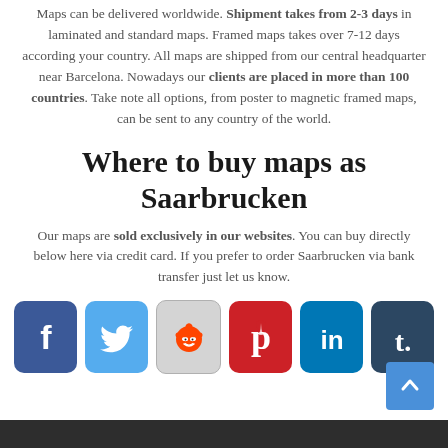Maps can be delivered worldwide. Shipment takes from 2-3 days in laminated and standard maps. Framed maps takes over 7-12 days according your country. All maps are shipped from our central headquarter near Barcelona. Nowadays our clients are placed in more than 100 countries. Take note all options, from poster to magnetic framed maps, can be sent to any country of the world.
Where to buy maps as Saarbrucken
Our maps are sold exclusively in our websites. You can buy directly below here via credit card. If you prefer to order Saarbrucken via bank transfer just let us know.
[Figure (infographic): Row of six social media icons: Facebook (blue), Twitter (light blue), Reddit (gray), Pinterest (red), LinkedIn (dark blue), Tumblr (dark blue-gray)]